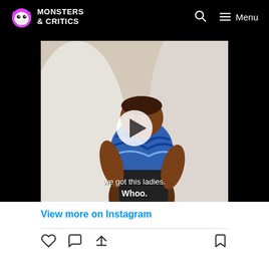Monsters & Critics
[Figure (screenshot): Video thumbnail showing a woman on a water slide wearing a blue patterned top and black shorts, smiling. A white play button triangle is overlaid in the center. Text overlay reads 'we got this ladies.' and 'Whoo.']
View more on Instagram
[Figure (infographic): Instagram action icons: heart (like), comment bubble, share arrow, and bookmark]